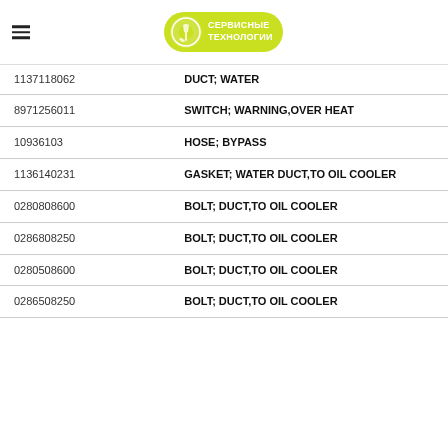Сервисные Технологии
| Part Number | Description |
| --- | --- |
| 1137118062 | DUCT; WATER |
| 8971256011 | SWITCH; WARNING,OVER HEAT |
| 10936103 | HOSE; BYPASS |
| 1136140231 | GASKET; WATER DUCT,TO OIL COOLER |
| 0280808600 | BOLT; DUCT,TO OIL COOLER |
| 0286808250 | BOLT; DUCT,TO OIL COOLER |
| 0280508600 | BOLT; DUCT,TO OIL COOLER |
| 0286508250 | BOLT; DUCT,TO OIL COOLER |